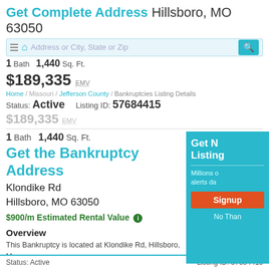Get Complete Address Hillsboro, MO 63050
1 Bath  1,440 Sq. Ft.
$189,335 EMV
Home / Missouri / Jefferson County / Bankruptcies Listing Details
Status: Active   Listing ID: 57684415
$189,335 EMV
1 Bath  1,440 Sq. Ft.
Get the Bankruptcy Address
Klondike Rd
Hillsboro, MO 63050
$900/m Estimated Rental Value
Overview
This Bankruptcy is located at Klondike Rd, Hillsboro, Mo It has 1 Bath , 1,440 sqft of living space. This property is Bankruptcy with an estimated market value of $189,33 Save money on this property now.
Status: Active
Listing ID: 57684415